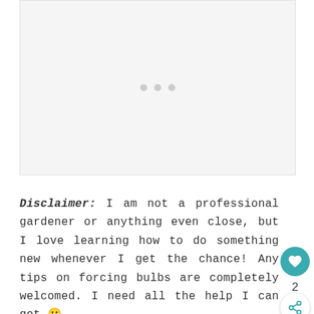[Figure (other): Loading placeholder image area with three gray dots indicating content is loading]
Disclaimer: I am not a professional gardener or anything even close, but I love learning how to do something new whenever I get the chance! Any tips on forcing bulbs are completely welcomed. I need all the help I can get 🙂